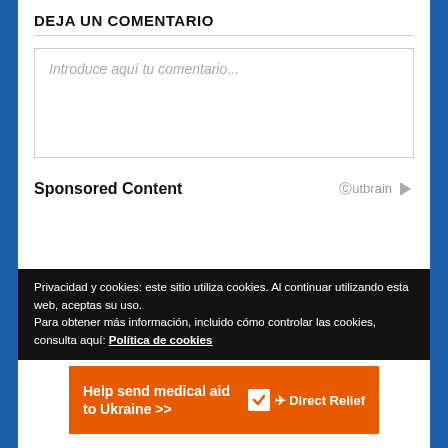DEJA UN COMENTARIO
Introduce aquí tu comentario...
Sponsored Content
Privacidad y cookies: este sitio utiliza cookies. Al continuar utilizando esta web, aceptas su uso.
Para obtener más información, incluido cómo controlar las cookies, consulta aquí: Política de cookies
Help send medical aid to Ukraine >>